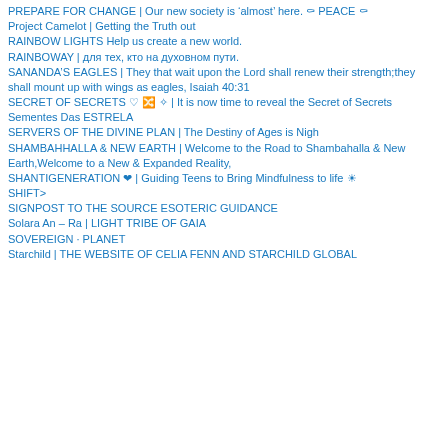PREPARE FOR CHANGE | Our new society is 'almost' here. ☮ PEACE ☮
Project Camelot | Getting the Truth out
RAINBOW LIGHTS Help us create a new world.
RAINBOWAY | для тех, кто на духовном пути.
SANANDA'S EAGLES | They that wait upon the Lord shall renew their strength;they shall mount up with wings as eagles, Isaiah 40:31
SECRET OF SECRETS ♡ 🌀 ✧ | It is now time to reveal the Secret of Secrets
Sementes Das ESTRELA
SERVERS OF THE DIVINE PLAN | The Destiny of Ages is Nigh
SHAMBAHHALLA & NEW EARTH | Welcome to the Road to Shambahalla & New Earth,Welcome to a New & Expanded Reality,
SHANTIGENERATION ❤ | Guiding Teens to Bring Mindfulness to life ☀
SHIFT>
SIGNPOST TO THE SOURCE ESOTERIC GUIDANCE
Solara An – Ra | LIGHT TRIBE OF GAIA
SOVEREIGN · PLANET
Starchild | THE WEBSITE OF CELIA FENN AND STARCHILD GLOBAL